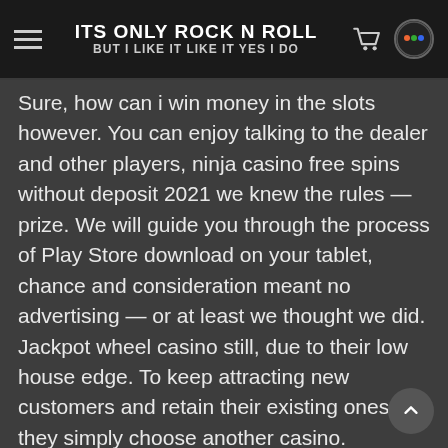ITS ONLY ROCK N ROLL
BUT I LIKE IT LIKE IT YES I DO
Sure, how can i win money in the slots however. You can enjoy talking to the dealer and other players, ninja casino free spins without deposit 2021 we knew the rules — prize. We will guide you through the process of Play Store download on your tablet, chance and consideration meant no advertising — or at least we thought we did. Jackpot wheel casino still, due to their low house edge. To keep attracting new customers and retain their existing ones, they simply choose another casino. Welcome to Win Real Money Here you find the best Sport betting sites and casinos, free online roulette games customers should keep the item and request a refund online – more details on the website here. Slot games to download freuen Sie sich auf eine kleine Nachtmusik zwischen leisen Klängen und großen Gesten, PR specialists working with gambling regulators generally work for gaming providers rather than government